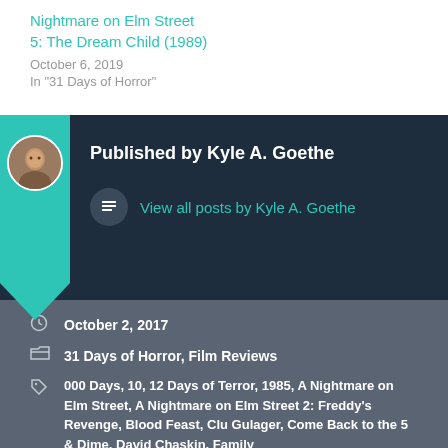Nightmare on Elm Street 5: The Dream Child (1989)
October 6, 2019
In "31 Days of Horror"
Published by Kyle A. Goethe
View all posts by Kyle A. Goethe
October 2, 2017
31 Days of Horror, Film Reviews
000 Days, 10, 12 Days of Terror, 1985, A Nightmare on Elm Street, A Nightmare on Elm Street 2: Freddy's Revenge, Blood Feast, Clu Gulager, Come Back to the 5 & Dime, David Chaskin, Family